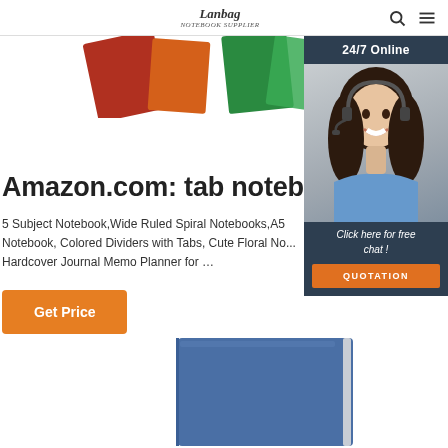Lanbag | Search | Menu
[Figure (photo): Colorful notebook covers fanned out at top of page - red, orange, and green notebooks visible]
[Figure (photo): Sidebar widget showing a woman with headset, 24/7 online chat support, with 'Click here for free chat!' text and QUOTATION button]
Amazon.com: tab notebook
5 Subject Notebook,Wide Ruled Spiral Notebooks,A5 Notebook, Colored Dividers with Tabs, Cute Floral No... Hardcover Journal Memo Planner for …
Get Price
[Figure (photo): Blue hardcover notebook partially visible at bottom of page]